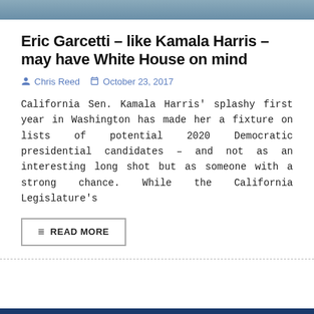[Figure (photo): Cropped photo of a person in a suit, partially visible at top of page]
Eric Garcetti – like Kamala Harris – may have White House on mind
Chris Reed  October 23, 2017
California Sen. Kamala Harris' splashy first year in Washington has made her a fixture on lists of potential 2020 Democratic presidential candidates – and not as an interesting long shot but as someone with a strong chance. While the California Legislature's
READ MORE
Share this article:
[Figure (infographic): Social media sharing icons: Facebook, Twitter, LinkedIn, Reddit, Tumblr, Email]